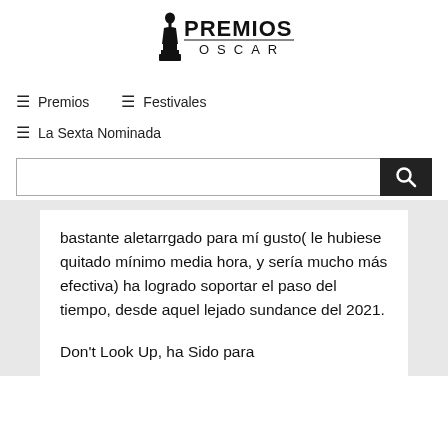[Figure (logo): Premios Oscar logo with Oscar statuette silhouette and text PREMIOS OSCAR]
≡ Premios
≡ Festivales
≡ La Sexta Nominada
[Figure (other): Search input box with magnifying glass button]
bastante aletarrgado para mí gusto( le hubiese quitado mínimo media hora, y sería mucho más efectiva) ha logrado soportar el paso del tiempo, desde aquel lejado sundance del 2021.
Don't Look Up, ha Sido para